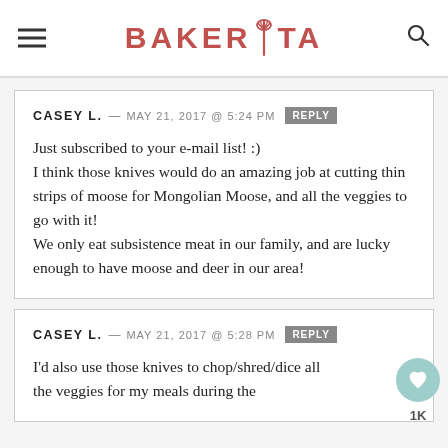BAKERITA
CASEY L. — MAY 21, 2017 @ 5:24 PM  REPLY
Just subscribed to your e-mail list! :)
I think those knives would do an amazing job at cutting thin strips of moose for Mongolian Moose, and all the veggies to go with it!
We only eat subsistence meat in our family, and are lucky enough to have moose and deer in our area!
CASEY L. — MAY 21, 2017 @ 5:28 PM  REPLY
I'd also use those knives to chop/shred/dice all the veggies for my meals during the...